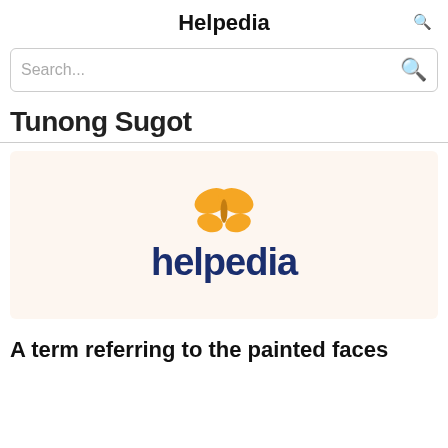Helpedia
Search...
Tunong Sugot
[Figure (logo): Helpedia logo with orange butterfly icon above the word 'helpedia' in dark navy blue on a light beige background]
A term referring to the painted faces